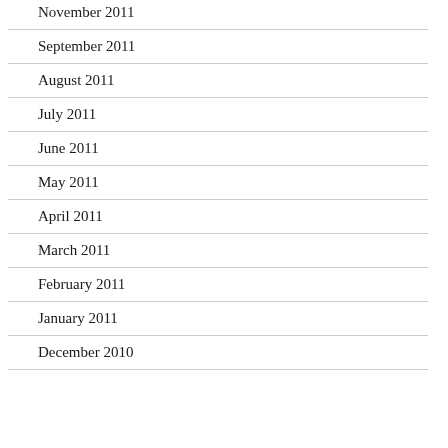November 2011
September 2011
August 2011
July 2011
June 2011
May 2011
April 2011
March 2011
February 2011
January 2011
December 2010